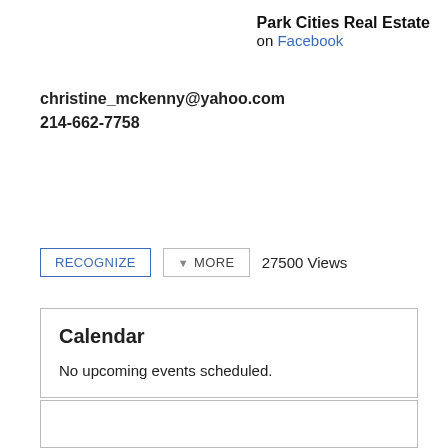Park Cities Real Estate
on Facebook
christine_mckenny@yahoo.com
214-662-7758
RECOGNIZE   MORE   27500 Views
Calendar
No upcoming events scheduled.